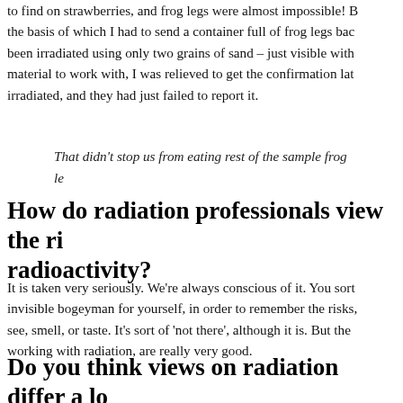to find on strawberries, and frog legs were almost impossible! B... the basis of which I had to send a container full of frog legs bac... been irradiated using only two grains of sand – just visible with... material to work with, I was relieved to get the confirmation lat... irradiated, and they had just failed to report it.
That didn't stop us from eating rest of the sample frog le...
How do radiation professionals view the ri... radioactivity?
It is taken very seriously. We're always conscious of it. You sort... invisible bogeyman for yourself, in order to remember the risks,... see, smell, or taste. It's sort of 'not there', although it is. But the... working with radiation, are really very good.
Do you think views on radiation differ a lo...